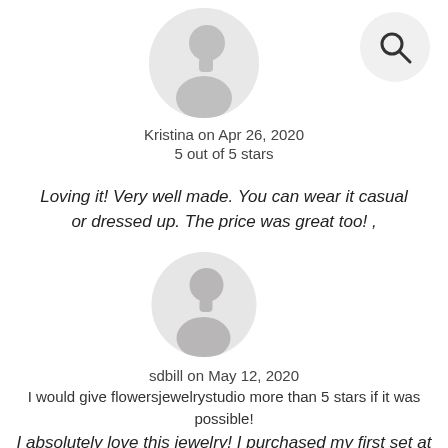[Figure (illustration): Generic user avatar circle with silhouette of person, top-left area]
[Figure (illustration): Search icon (magnifying glass) inside a light circle, top-right area]
Kristina on Apr 26, 2020
5 out of 5 stars
Loving it! Very well made. You can wear it casual or dressed up. The price was great too! ,
[Figure (illustration): Generic user avatar circle with silhouette of person, middle area]
sdbill on May 12, 2020
I would give flowersjewelrystudio more than 5 stars if it was possible!
I absolutely love this jewelry! I purchased my first set at a